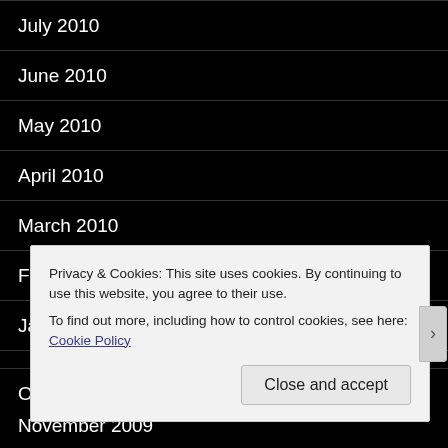July 2010
June 2010
May 2010
April 2010
March 2010
February 2010
January 2010
December 2009
November 2009
Privacy & Cookies: This site uses cookies. By continuing to use this website, you agree to their use.
To find out more, including how to control cookies, see here: Cookie Policy
Close and accept